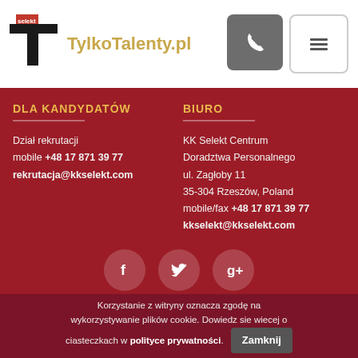[Figure (logo): TylkoTalenty.pl logo — black T letter mark with red accent and gold/yellow wordmark text]
[Figure (screenshot): Phone icon button (grey) and hamburger menu button (white/outlined) in top right header]
DLA KANDYDATÓW
Dział rekrutacji mobile +48 17 871 39 77 rekrutacja@kkselekt.com
BIURO
KK Selekt Centrum Doradztwa Personalnego ul. Zagłoby 11 35-304 Rzeszów, Poland mobile/fax +48 17 871 39 77 kkselekt@kkselekt.com
[Figure (illustration): Three social media icons: Facebook (f), Twitter (bird), Google+ (g+) in circular buttons on dark red background]
Korzystanie z witryny oznacza zgodę na wykorzystywanie plików cookie. Dowiedz sie wiecej o ciasteczkach w polityce prywatności. Zamknij